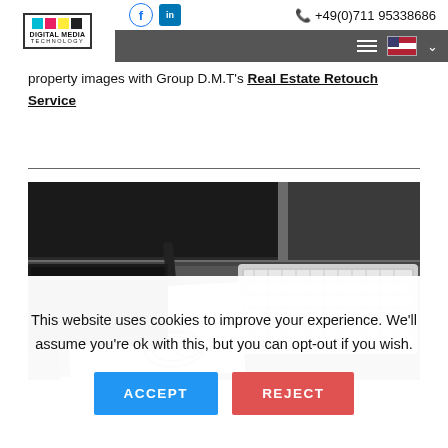Digital Media Technology — +49(0)711 95338686
property images with Group D.M.T's Real Estate Retouch Service
[Figure (photo): Black and white photo of a desk with a keyboard, stylus pen, notebook with design sketches, and a monitor in the background]
This website uses cookies to improve your experience. We'll assume you're ok with this, but you can opt-out if you wish.
ACCEPT | REJECT